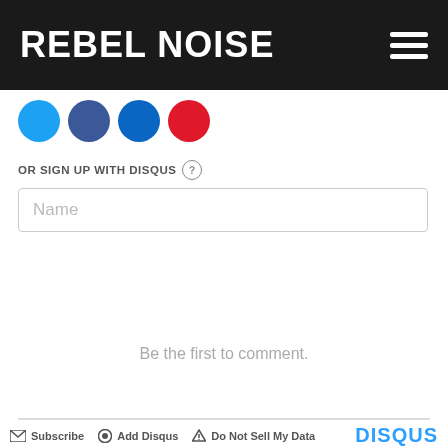REBEL NOISE
[Figure (other): Social sharing icons: Twitter (blue circle), Facebook (dark blue circle), LinkedIn (blue circle), YouTube (red circle)]
OR SIGN UP WITH DISQUS ?
Name
Be the first to comment.
Subscribe   Add Disqus   Do Not Sell My Data   DISQUS